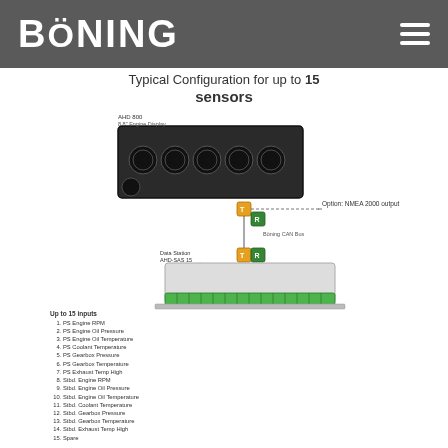[Figure (logo): Böning company logo in white text on dark grey background header bar with hamburger menu icon]
Typical Configuration for up to 15 sensors
[Figure (engineering-diagram): Diagram showing AHD 800 8.8" Engine Display connected via Böning CAN Bus (T and R connectors) to Data Station AHD-SAS 15 with up to 15 inputs. Option: NMEA 2000 output shown.]
Up to 15 inputs
1. PS Engine RPM
2. PS Engine Oil Pressure
3. PS Engine Oil Temperature
4. PS Coolant Temperature
5. PS Gearbox Pressure
6. PS Gearbox Temperature
7. PS Exhaust Temp High
8. Stbd. Engine RPM
9. Stbd. Engine Oil Pressure
10. Stbd. Engine Oil Temperature
11. Stbd. Coolant Temperature
12. Stbd. Gearbox Pressure
13. Stbd. Gearbox Temperature
14. Stbd. Exhaust Temp High
15. Spare